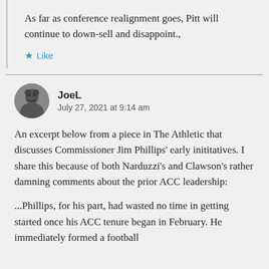As far as conference realignment goes, Pitt will continue to down-sell and disappoint.,
★ Like
JoeL
July 27, 2021 at 9:14 am
An excerpt below from a piece in The Athletic that discusses Commissioner Jim Phillips' early inititatives. I share this because of both Narduzzi's and Clawson's rather damning comments about the prior ACC leadership:
...Phillips, for his part, had wasted no time in getting started once his ACC tenure began in February. He immediately formed a football